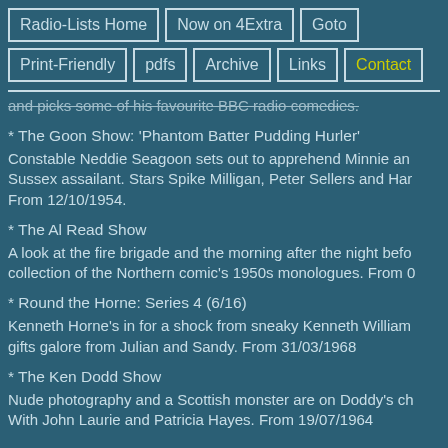Radio-Lists Home
Now on 4Extra
Goto
Print-Friendly
pdfs
Archive
Links
Contact
and picks some of his favourite BBC radio comedies.
* The Goon Show: 'Phantom Batter Pudding Hurler'
Constable Neddie Seagoon sets out to apprehend Minnie and the Sussex assailant. Stars Spike Milligan, Peter Sellers and Harry. From 12/10/1954.
* The Al Read Show
A look at the fire brigade and the morning after the night before collection of the Northern comic's 1950s monologues. From 0
* Round the Horne: Series 4 (6/16)
Kenneth Horne's in for a shock from sneaky Kenneth Williams and gifts galore from Julian and Sandy. From 31/03/1968
* The Ken Dodd Show
Nude photography and a Scottish monster are on Doddy's ch With John Laurie and Patricia Hayes. From 19/07/1964